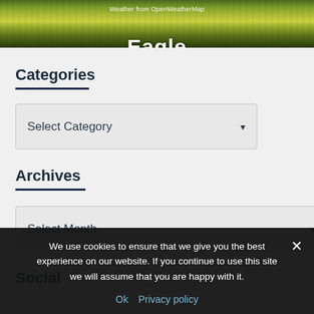[Figure (photo): Aerial or street-level photo of trees with autumn foliage in shades of yellow, gold, and green, with buildings visible in the background. Text overlay reads 'Weather from OpenWeatherMap' and 'Eagle' title below.]
Categories
Select Category
Archives
Select Month
Social
We use cookies to ensure that we give you the best experience on our website. If you continue to use this site we will assume that you are happy with it.
Ok   Privacy policy